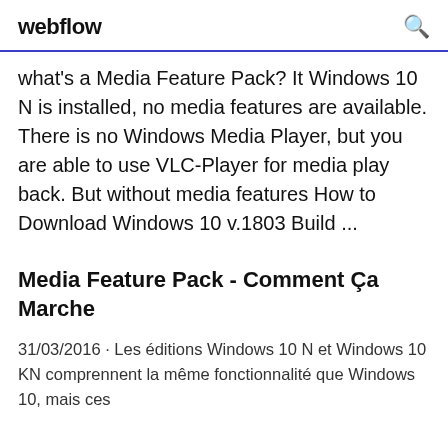webflow
what's a Media Feature Pack? It Windows 10 N is installed, no media features are available. There is no Windows Media Player, but you are able to use VLC-Player for media play back. But without media features How to Download Windows 10 v.1803 Build ...
Media Feature Pack - Comment Ça Marche
31/03/2016 · Les éditions Windows 10 N et Windows 10 KN comprennent la même fonctionnalité que Windows 10, mais ces